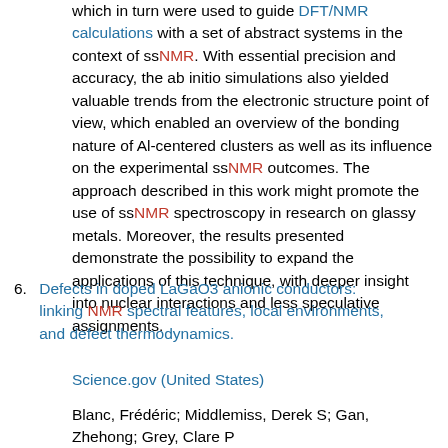which in turn were used to guide DFT/NMR calculations with a set of abstract systems in the context of ssNMR. With essential precision and accuracy, the ab initio simulations also yielded valuable trends from the electronic structure point of view, which enabled an overview of the bonding nature of Al-centered clusters as well as its influence on the experimental ssNMR outcomes. The approach described in this work might promote the use of ssNMR spectroscopy in research on glassy metals. Moreover, the results presented demonstrate the possibility to expand the applications of this technique, with deeper insight into nuclear interactions and less speculative assignments.
6. Defects in doped LaGaO3 anionic conductors: linking NMR spectral features, local environments, and defect thermodynamics.
Science.gov (United States)
Blanc, Frédéric; Middlemiss, Derek S; Gan, Zhehong; Grey, Clare P
2011-11-09
Doped lanthanum gallate perovskites (LaGaO(3)) constitute